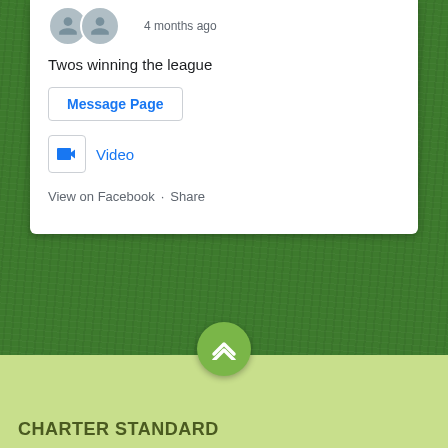4 months ago
Twos winning the league
Message Page
Video
View on Facebook · Share
CHARTER STANDARD